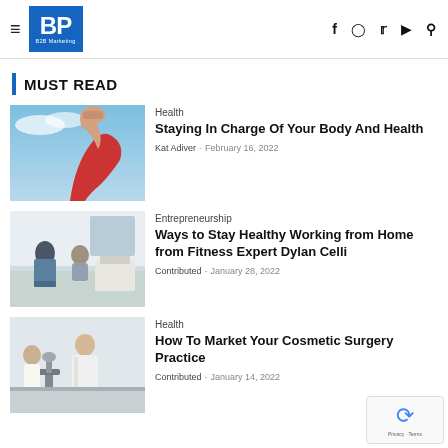BP B2B Marketing — navigation with hamburger menu, logo, and social icons (f, Instagram, Twitter, YouTube, Search)
MUST READ
[Figure (photo): Person in red sleeveless top flexing arm muscle against blue sky background]
Health
Staying In Charge Of Your Body And Health
Kat Adiver – February 16, 2022
[Figure (photo): People sitting in a waiting room or office, viewed from behind]
Entrepreneurship
Ways to Stay Healthy Working from Home from Fitness Expert Dylan Celli
Contributed – January 28, 2022
[Figure (photo): Medical professional in white coat examining equipment with a patient]
Health
How To Market Your Cosmetic Surgery Practice
Contributed – January 14, 2022